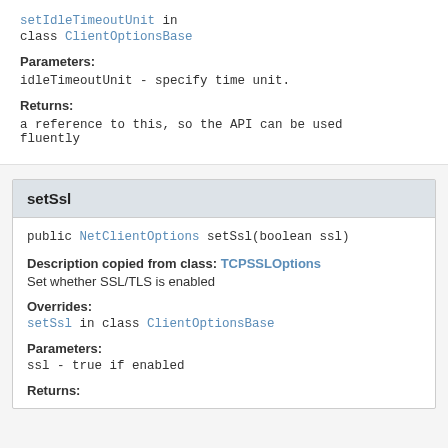setIdleTimeoutUnit in class ClientOptionsBase
Parameters:
idleTimeoutUnit - specify time unit.
Returns:
a reference to this, so the API can be used fluently
setSsl
public NetClientOptions setSsl(boolean ssl)
Description copied from class: TCPSSLOptions
Set whether SSL/TLS is enabled
Overrides:
setSsl in class ClientOptionsBase
Parameters:
ssl - true if enabled
Returns: